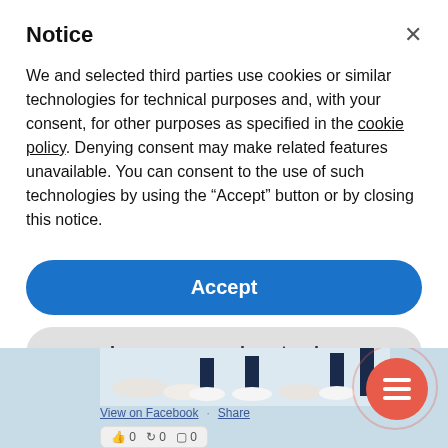Notice
We and selected third parties use cookies or similar technologies for technical purposes and, with your consent, for other purposes as specified in the cookie policy. Denying consent may make related features unavailable. You can consent to the use of such technologies by using the “Accept” button or by closing this notice.
[Figure (screenshot): Blue Accept button (rounded pill shape)]
[Figure (screenshot): Gray Learn more and customize button (rounded pill shape)]
[Figure (photo): Bottom portion of page showing feet/shoes photo and Facebook social interaction bar with View on Facebook and Share links, and reaction counts (like 0, share 0, comment 0). Red floating action button with menu icon overlaid.]